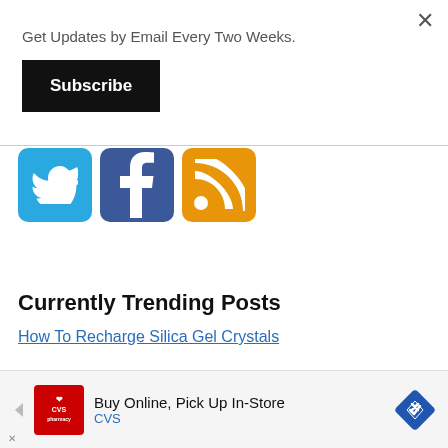×
Get Updates by Email Every Two Weeks.
Subscribe
[Figure (logo): Twitter bird icon on teal/blue square background]
[Figure (logo): Facebook 'f' icon on dark blue square background]
[Figure (logo): RSS feed icon on orange square background]
Currently Trending Posts
How To Recharge Silica Gel Crystals
[Figure (infographic): CVS pharmacy advertisement banner: 'Buy Online, Pick Up In-Store' with CVS logo and direction arrow diamond icon]